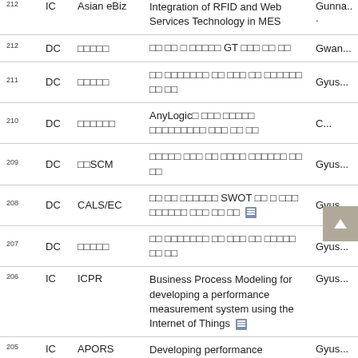| # | Type | Venue | Title | Author |
| --- | --- | --- | --- | --- |
| 212 | DC | □□□□□ | □□ □□ □ □□□□□ GT □□□ □□ □□ | Gwan... |
| 211 | DC | □□□□□ | □□ □□□□□□□ □□ □□□ □□ □□□□□□ □□ □□ | Gyus... |
| 210 | DC | □□□□□□ | AnyLogic□ □□□ □□□□□ □□□□□□□□□ □□□ □□ □□ | C... |
| 209 | DC | □□SCM | □□□□□ □□□ □□ □□□□ □□□□□□ □□ □□ | Gyus... |
| 208 | DC | CALS/EC | □□ □□ □□□□□□ SWOT □□ □ □□□ □□□□□□ □□□ □□ □□ | Gyus... |
| 207 | DC | □□□□□ | □□ □□□□□□□ □□ □□□ □□ □□□□□ □□ □□ | Gyus... |
| 206 | IC | ICPR | Business Process Modeling for developing a performance measurement system using the Internet of Things | Gyus... |
| 205 | IC | APORS | Developing performance measurement framework for MES (Manufacturing Execution System) | Gyus... |
| 204 | IC | ASIM... | Operational Perform... | G... |